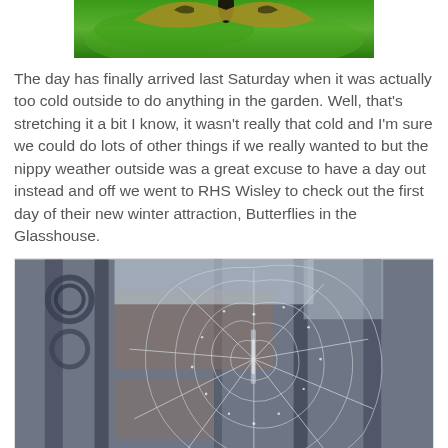[Figure (photo): Partial top view of a butterfly on a green leaf, cropped at the top of the page]
The day has finally arrived last Saturday when it was actually too cold outside to do anything in the garden. Well, that's stretching it a bit I know, it wasn't really that cold and I'm sure we could do lots of other things if we really wanted to but the nippy weather outside was a great excuse to have a day out instead and off we went to RHS Wisley to check out the first day of their new winter attraction, Butterflies in the Glasshouse.
[Figure (photo): A frost-covered spider web stretched across ornate iron gate or fence, with blurred background of brick building, in dark grey tones]